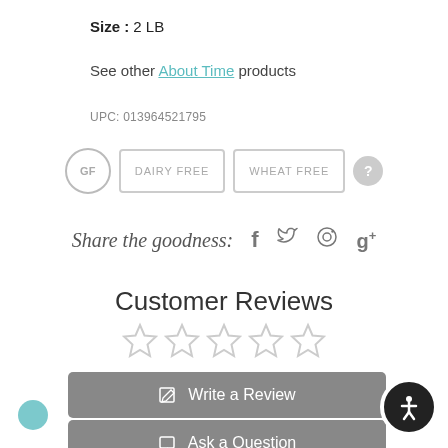Size : 2 LB
See other About Time products
UPC: 013964521795
[Figure (infographic): Product badges: GF (circle), DAIRY FREE (rectangle), WHEAT FREE (rectangle), question mark circle]
Share the goodness: f (Facebook), Twitter, Pinterest, Google+
Customer Reviews
[Figure (other): Five empty star rating icons]
Write a Review
Ask a Question